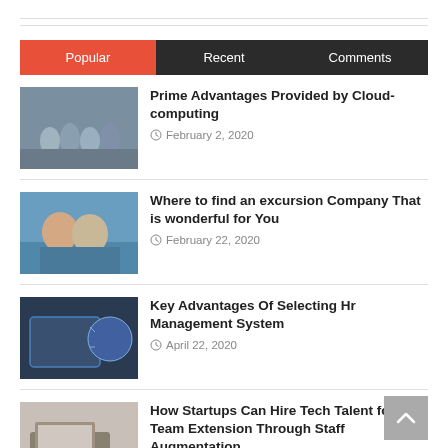Popular | Recent | Comments
[Figure (photo): Group of people photo thumbnail]
Prime Advantages Provided by Cloud-computing
February 2, 2020
[Figure (photo): People on vacation photo thumbnail]
Where to find an excursion Company That is wonderful for You
February 22, 2020
[Figure (photo): Technology/tablet photo thumbnail]
Key Advantages Of Selecting Hr Management System
April 22, 2020
[Figure (photo): Laptop/office photo thumbnail]
How Startups Can Hire Tech Talent for Team Extension Through Staff Augmentation
April 22, 2020